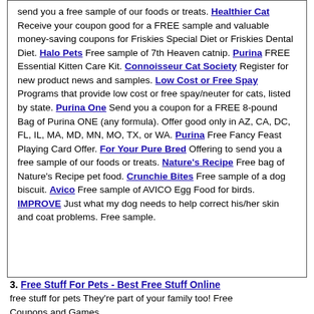send you a free sample of our foods or treats. Healthier Cat Receive your coupon good for a FREE sample and valuable money-saving coupons for Friskies Special Diet or Friskies Dental Diet. Halo Pets Free sample of 7th Heaven catnip. Purina FREE Essential Kitten Care Kit. Connoisseur Cat Society Register for new product news and samples. Low Cost or Free Spay Programs that provide low cost or free spay/neuter for cats, listed by state. Purina One Send you a coupon for a FREE 8-pound Bag of Purina ONE (any formula). Offer good only in AZ, CA, DC, FL, IL, MA, MD, MN, MO, TX, or WA. Purina Free Fancy Feast Playing Card Offer. For Your Pure Bred Offering to send you a free sample of our foods or treats. Nature's Recipe Free bag of Nature's Recipe pet food. Crunchie Bites Free sample of a dog biscuit. Avico Free sample of AVICO Egg Food for birds. IMPROVE Just what my dog needs to help correct his/her skin and coat problems. Free sample.
3. Free Stuff For Pets - Best Free Stuff Online free stuff for pets They're part of your family too! Free Coupons and Games...